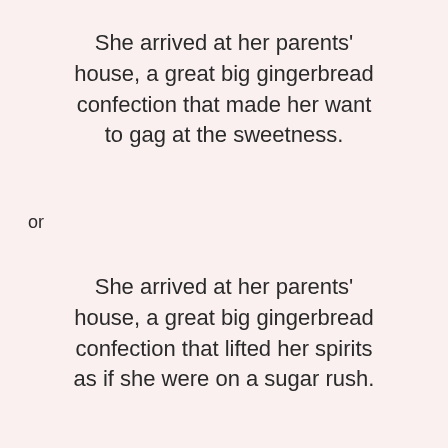She arrived at her parents' house, a great big gingerbread confection that made her want to gag at the sweetness.
or
She arrived at her parents' house, a great big gingerbread confection that lifted her spirits as if she were on a sugar rush.